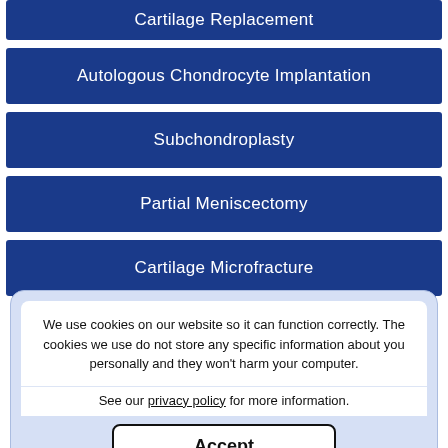Cartilage Replacement
Autologous Chondrocyte Implantation
Subchondroplasty
Partial Meniscectomy
Cartilage Microfracture
We use cookies on our website so it can function correctly. The cookies we use do not store any specific information about you personally and they won't harm your computer.
See our privacy policy for more information.
Accept
Physeal Sparing Surgery (Anderson's Technique)